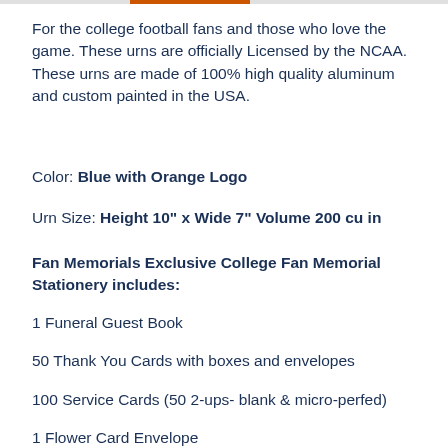For the college football fans and those who love the game. These urns are officially Licensed by the NCAA. These urns are made of 100% high quality aluminum and custom painted in the USA.
Color: Blue with Orange Logo
Urn Size: Height 10" x Wide 7" Volume 200 cu in
Fan Memorials Exclusive College Fan Memorial Stationery includes:
1 Funeral Guest Book
50 Thank You Cards with boxes and envelopes
100 Service Cards (50 2-ups- blank & micro-perfed)
1 Flower Card Envelope